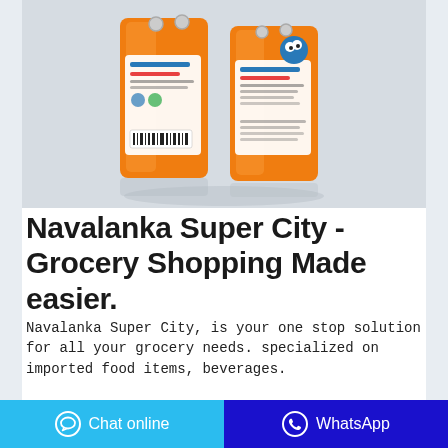[Figure (photo): Product photo of orange detergent/washing powder bags shown from the back, against a light gray background. Two orange plastic bags with white labels and blue text/graphics, standing upright.]
Navalanka Super City - Grocery Shopping Made easier.
Navalanka Super City, is your one stop solution for all your grocery needs. specialized on imported food items, beverages.
Chat online   WhatsApp